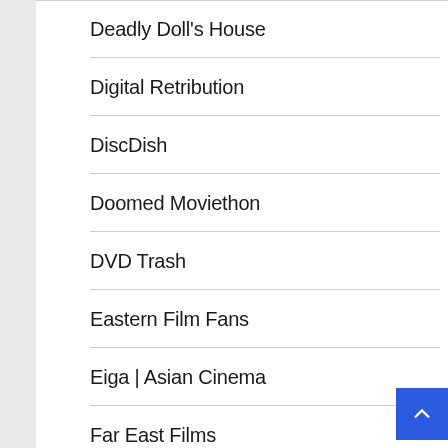Deadly Doll's House
Digital Retribution
DiscDish
Doomed Moviethon
DVD Trash
Eastern Film Fans
Eiga | Asian Cinema
Far East Films